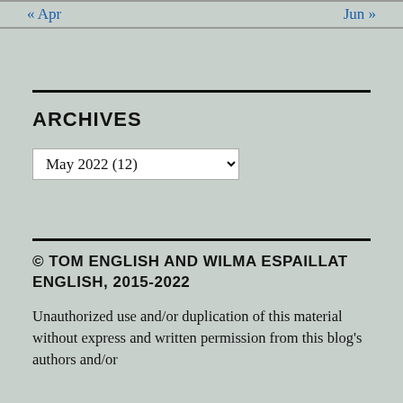« Apr    Jun »
ARCHIVES
May 2022  (12)
© TOM ENGLISH AND WILMA ESPAILLAT ENGLISH, 2015-2022
Unauthorized use and/or duplication of this material without express and written permission from this blog's authors and/or